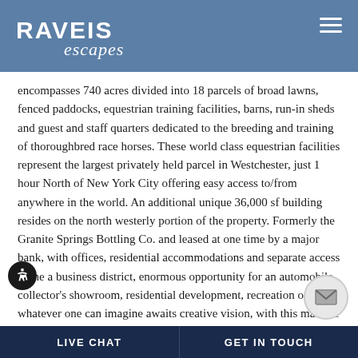RAVEIS escapes
encompasses 740 acres divided into 18 parcels of broad lawns, fenced paddocks, equestrian training facilities, barns, run-in sheds and guest and staff quarters dedicated to the breeding and training of thoroughbred race horses. These world class equestrian facilities represent the largest privately held parcel in Westchester, just 1 hour North of New York City offering easy access to/from anywhere in the world. An additional unique 36,000 sf building resides on the north westerly portion of the property. Formerly the Granite Springs Bottling Co. and leased at one time by a major bank, with offices, residential accommodations and separate access to the a business district, enormous opportunity for an automobile collector's showroom, residential development, recreation or whatever one can imagine awaits creative vision, with this massive stone and frame structure as part of it. Offering the finest in both luxury and equestrian fac
LIVE CHAT | GET IN TOUCH